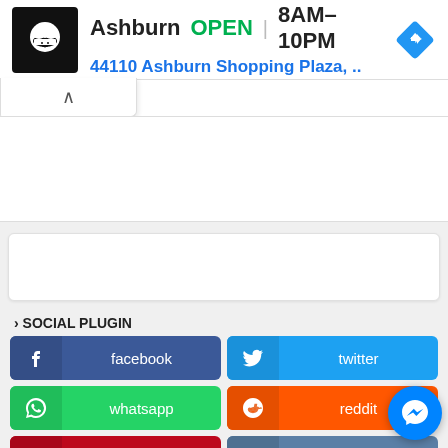[Figure (screenshot): Ad banner for a food/restaurant location in Ashburn showing logo, open status, hours 8AM–10PM, address 44110 Ashburn Shopping Plaza, and a navigation arrow icon]
Ashburn  OPEN  8AM–10PM
44110 Ashburn Shopping Plaza, ..
> SOCIAL PLUGIN
facebook
twitter
whatsapp
reddit
pinterest
vk